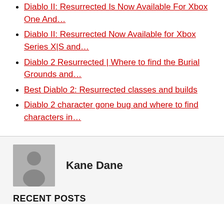Diablo II: Resurrected Is Now Available For Xbox One And…
Diablo II: Resurrected Now Available for Xbox Series X|S and…
Diablo 2 Resurrected | Where to find the Burial Grounds and…
Best Diablo 2: Resurrected classes and builds
Diablo 2 character gone bug and where to find characters in…
[Figure (illustration): Grey avatar placeholder image showing a generic person silhouette]
Kane Dane
RECENT POSTS